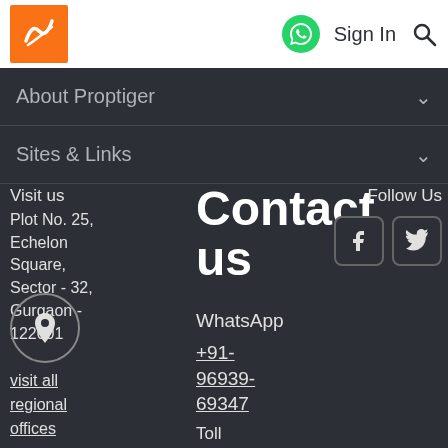Proptiger header with logo, WhatsApp icon, Sign In, Search
About Proptiger
Sites & Links
Visit us
Plot No. 25, Echelon Square, Sector - 32, Gurgaon - 122001
visit all regional offices
Contact us
WhatsApp
+91-96939-69347
Toll Free
India 1800-103-104-1
(9:00
Follow Us